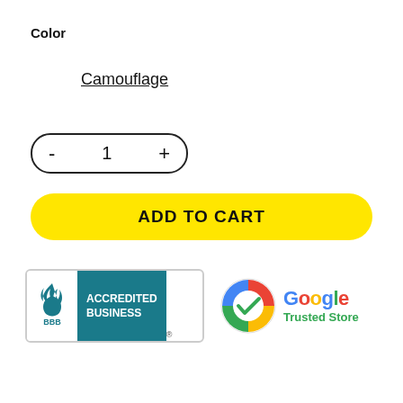Color
Camouflage
- 1 +
ADD TO CART
[Figure (logo): BBB Accredited Business badge and Google Trusted Store badge side by side]